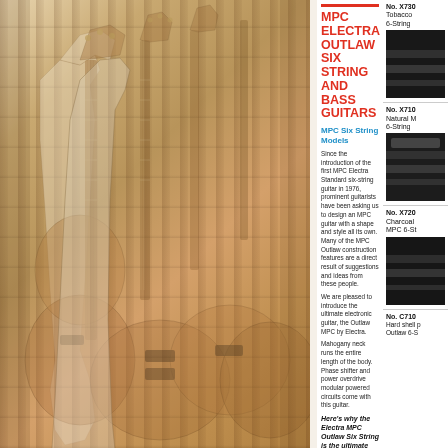[Figure (photo): Multiple electric guitars arranged together, warm amber/brown tones, showing guitar bodies, necks, pickups and hardware details]
MPC ELECTRA OUTLAW SIX STRING AND BASS GUITARS
MPC Six String Models
Since the introduction of the first MPC Electra Standard six-string guitar in 1976, prominent guitarists have been asking us to design an MPC guitar with a shape and style all its own. Many of the MPC Outlaw construction features are a direct result of suggestions and ideas from these people.
We are pleased to introduce the ultimate electronic guitar, the Outlaw MPC by Electra.
Mahogany neck runs the entire length of the body. Phase shifter and power overdrive modular powered circuits come with this guitar.
Here's why the Electra MPC Outlaw Six String is the ultimate solid body electric.
Through the body neck promotes better sustain.
Super Magnaflux pickups give an enriched signal to the pre-amp giving the kind of versatility of sound demanded by today's top guitarists.
No. X730
Tobacco
6-String
No. X710
Natural M
6-String
No. X720
Charcoal
MPC 6-St
No. C710
Hard shell p
Outlaw 6-S